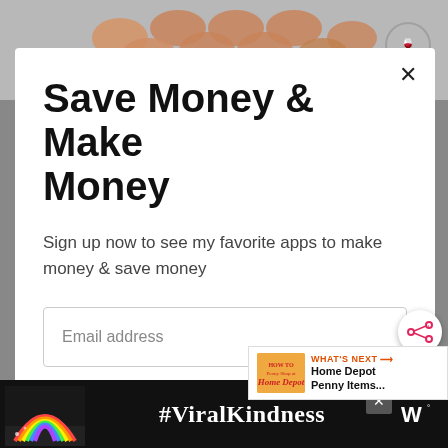[Figure (screenshot): Background webpage with honeycomb/egg tray product image visible behind modal]
Save Money & Make Money
Sign up now to see my favorite apps to make money & save money
Email address
Get It Now
[Figure (infographic): What's Next advertisement panel: Home Depot Penny Items...]
[Figure (screenshot): Bottom banner ad: rainbow illustration with #ViralKindness text on dark background]